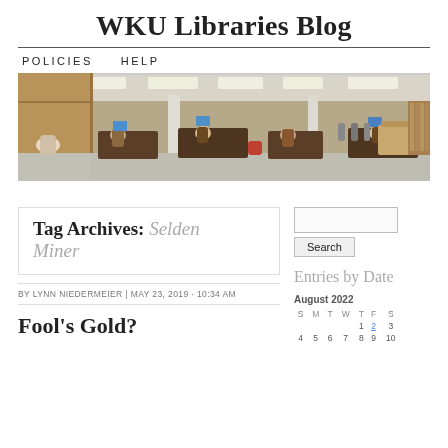WKU Libraries Blog
POLICIES   HELP
[Figure (photo): Panoramic photo of a university library interior showing students studying at tables and computers, with bookshelves and open floor plan.]
Tag Archives: Selden Miner
BY LYNN NIEDERMEIER | MAY 23, 2019 · 10:34 AM
Fool's Gold?
[Figure (screenshot): Search widget with text input box and Search button]
Entries by Date
August 2022
| S | M | T | W | T | F | S |
| --- | --- | --- | --- | --- | --- | --- |
|  |  |  |  | 1 | 2 | 3 |
| 4 | 5 | 6 | 7 | 8 | 9 | 10 |